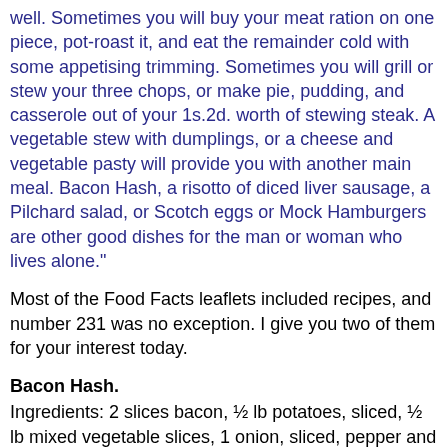for those with one ration book to work. Modestly and eat well. Sometimes you will buy your meat ration on one piece, pot-roast it, and eat the remainder cold with some appetising trimming. Sometimes you will grill or stew your three chops, or make pie, pudding, and casserole out of your 1s.2d. worth of stewing steak. A vegetable stew with dumplings, or a cheese and vegetable pasty will provide you with another main meal. Bacon Hash, a risotto of diced liver sausage, a Pilchard salad, or Scotch eggs or Mock Hamburgers are other good dishes for the man or woman who lives alone."
Most of the Food Facts leaflets included recipes, and number 231 was no exception. I give you two of them for your interest today.
Bacon Hash.
Ingredients: 2 slices bacon, ½ lb potatoes, sliced, ½ lb mixed vegetable slices, 1 onion, sliced, pepper and salt, ½ pint stock or water.
Method: Remove rinds from bacon and cut into small pieces. Cut bacon into larger pieces and fry all together until fairly crisp. Remove from pan. Put in layers of sliced potatot, vegetable and onion and bacon, finishing with potato.